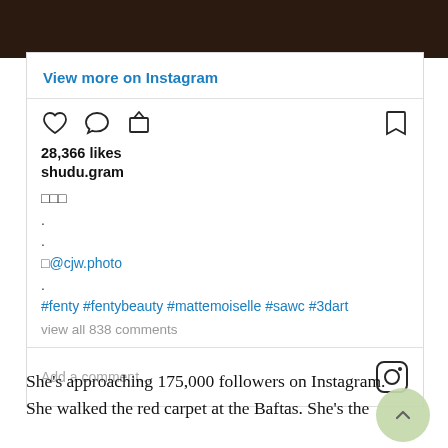[Figure (screenshot): Dark top portion of Instagram post image]
View more on Instagram
28,366 likes
shudu.gram
□□□
.
.
□@cjw.photo
.
#fenty #fentybeauty #mattemoiselle #sawc #3dart
view all 838 comments
Add a comment...
She's approaching 175,000 followers on Instagram. She walked the red carpet at the Baftas. She's the